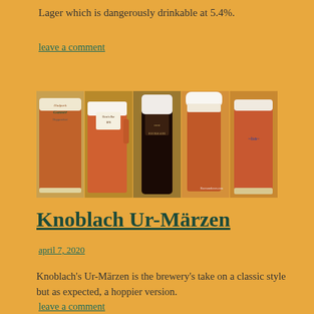Lager which is dangerously drinkable at 5.4%.
leave a comment
[Figure (photo): A horizontal strip of five photos showing different glasses of amber/red beer and one dark beer, from various breweries including Hadpark Gasser Huppendorf and others. Watermark reads beerwanderers.com]
Knoblach Ur-Märzen
april 7, 2020
Knoblach's Ur-Märzen is the brewery's take on a classic style but as expected, a hoppier version.
leave a comment